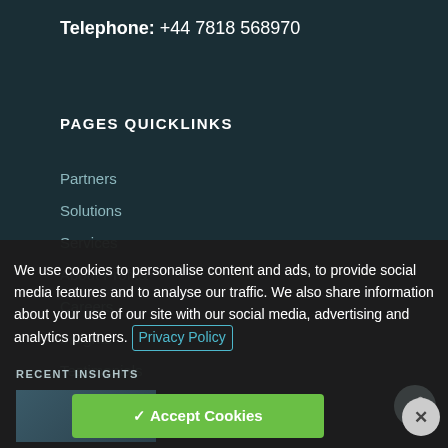Telephone: +44 7818 568970
PAGES QUICKLINKS
Partners
Solutions
Services
About Profit&
Careers
Insights
Testimonials
Contact us
We use cookies to personalise content and ads, to provide social media features and to analyse our traffic. We also share information about your use of our site with our social media, advertising and analytics partners. Privacy Policy
✓ Accept Cookies
RECENT INSIGHTS
How colla